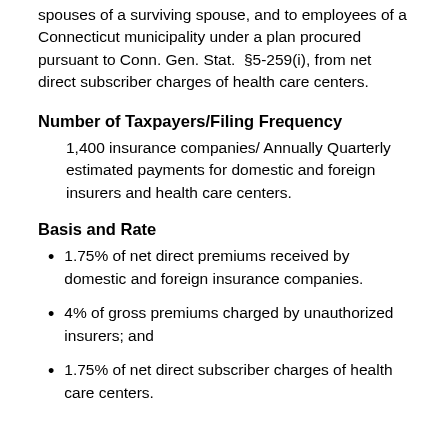spouses of a surviving spouse, and to employees of a Connecticut municipality under a plan procured pursuant to Conn. Gen. Stat. §5-259(i), from net direct subscriber charges of health care centers.
Number of Taxpayers/Filing Frequency
1,400 insurance companies/ Annually Quarterly estimated payments for domestic and foreign insurers and health care centers.
Basis and Rate
1.75% of net direct premiums received by domestic and foreign insurance companies.
4% of gross premiums charged by unauthorized insurers; and
1.75% of net direct subscriber charges of health care centers.